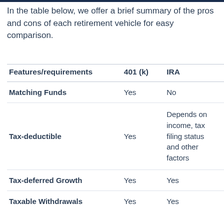In the table below, we offer a brief summary of the pros and cons of each retirement vehicle for easy comparison.
| Features/requirements | 401 (k) | IRA |
| --- | --- | --- |
| Matching Funds | Yes | No |
| Tax-deductible | Yes | Depends on income, tax filing status and other factors |
| Tax-deferred Growth | Yes | Yes |
| Taxable Withdrawals | Yes | Yes |